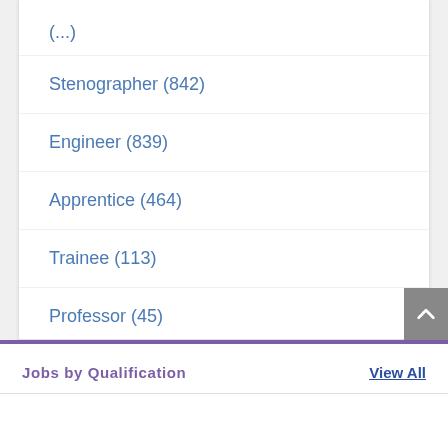Stenographer (842)
Engineer (839)
Apprentice (464)
Trainee (113)
Professor (45)
Staff Nurse (36)
Jobs by Qualification
View All